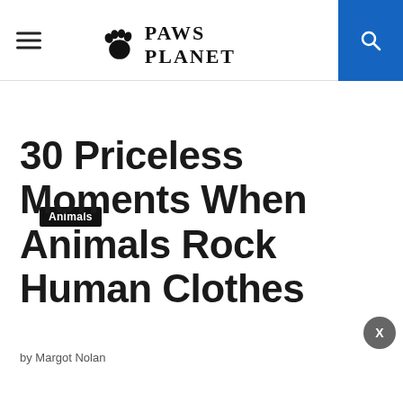PAWS PLANET
Animals
30 Priceless Moments When Animals Rock Human Clothes
by Margot Nolan